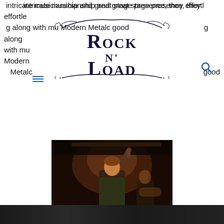intricate musicianship and great stage presence, they effortlessly sing along with mu Modern Metalcore good
[Figure (logo): Rock N' Load logo in ornate serif/display font with decorative flourishes]
[Figure (photo): Concert photo of a performer with arm raised high holding a microphone, wearing a patterned shirt, with a guitarist visible in the background, dark moody lighting]
[Figure (photo): Bottom strip of another concert photo, dark background]